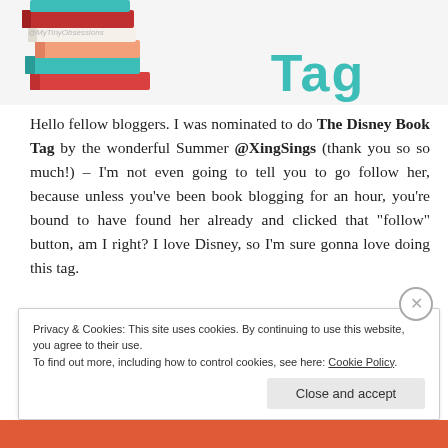[Figure (illustration): Header image with a stack of colorful books on the left and 'Book Tag' text in teal handwritten-style font on the right, with watermark @MyTinyObsessions]
Hello fellow bloggers. I was nominated to do The Disney Book Tag by the wonderful Summer @XingSings (thank you so so much!) – I'm not even going to tell you to go follow her, because unless you've been book blogging for an hour, you're bound to have found her already and clicked that "follow" button, am I right? I love Disney, so I'm sure gonna love doing this tag.
Privacy & Cookies: This site uses cookies. By continuing to use this website, you agree to their use.
To find out more, including how to control cookies, see here: Cookie Policy
Close and accept